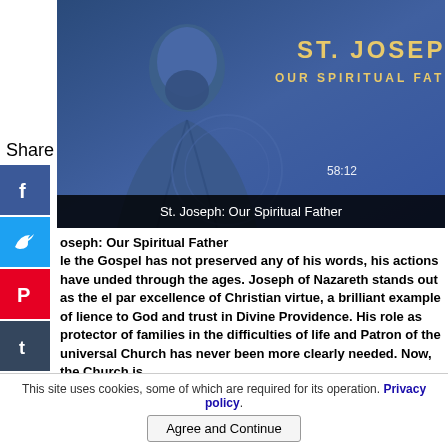[Figure (screenshot): Video thumbnail showing St. Joseph: Our Spiritual Father with a blue-toned religious painting of a bearded man, gold text reading ST. JOSEPH OUR SPIRITUAL FATHER, timecode 58:12, and a black bar with the title at the bottom]
Share
[Figure (illustration): Facebook share icon - blue square with f logo]
[Figure (illustration): Twitter share icon - blue square with bird logo]
[Figure (illustration): Pinterest share icon - red square with P logo]
[Figure (illustration): Tumblr share icon - dark square with t logo]
[Figure (illustration): Reddit share icon - orange square with alien logo]
[Figure (illustration): WhatsApp share icon - green square with phone logo]
oseph: Our Spiritual Father
le the Gospel has not preserved any of his words, his actions have unded through the ages. Joseph of Nazareth stands out as the el par excellence of Christian virtue, a brilliant example of lience to God and trust in Divine Providence. His role as protector of families in the difficulties of life and Patron of the universal Church has never been more clearly needed. Now, the Church is
This site uses cookies, some of which are required for its operation. Privacy policy.
Agree and Continue